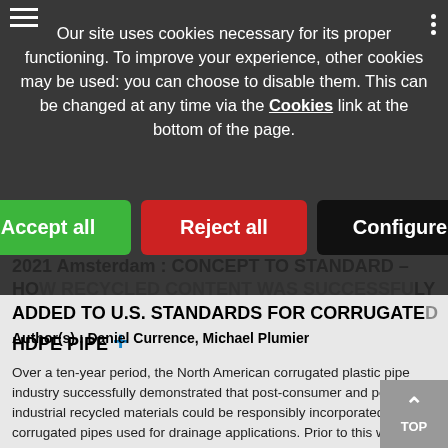Our site uses cookies necessary for its proper functioning. To improve your experience, other cookies may be used: you can choose to disable them. This can be changed at any time via the Cookies link at the bottom of the page.
[Figure (screenshot): Cookie consent dialog with three buttons: Accept all (green), Reject all (red), Configure (black)]
2021 Amsterdam : CONCEPT TO STANDARD – HOW RECYCLED CONTENT WAS SUCCESSFULLY ADDED TO U.S. STANDARDS FOR CORRUGATED HDPE PIPE
Author(s) : Daniel Currence, Michael Plumier
Over a ten-year period, the North American corrugated plastic pipe industry successfully demonstrated that post-consumer and post-industrial recycled materials could be responsibly incorporated into corrugated pipes used for drainage applications. Prior to this work, the material standards were established for ...